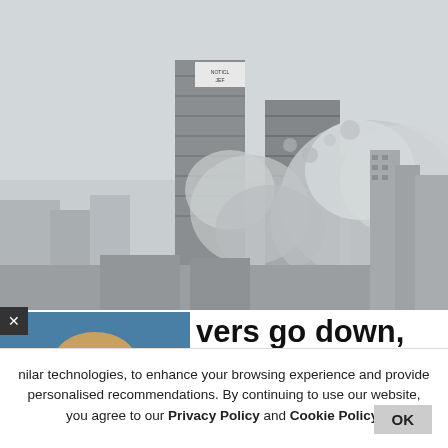[Figure (photo): Two tall buildings being demolished with large dust clouds billowing outward against a hazy city skyline]
[Figure (photo): Portrait photo of a woman with blonde hair against a blue background, overlaid with a circular loading/spinner icon]
vers go down, Twitter ies
illegally-built Apex (32 fl
nilar technologies, to enhance your browsing experience and provide personalised recommendations. By continuing to use our website, you agree to our Privacy Policy and Cookie Policy.